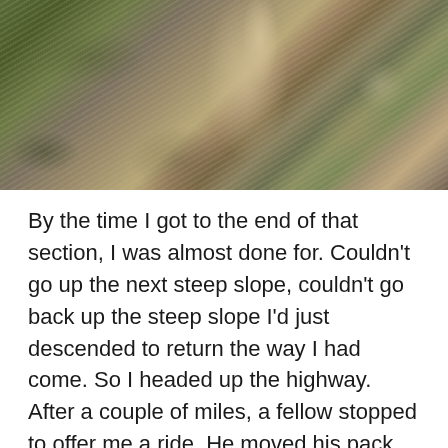[Figure (photo): Photograph of a narrow hiking trail winding through rocky terrain with trees and boulders on a steep hillside]
By the time I got to the end of that section, I was almost done for. Couldn't go up the next steep slope, couldn't go back up the steep slope I'd just descended to return the way I had come. So I headed up the highway. After a couple of miles, a fellow stopped to offer me a ride. He moved his pack off the seat to make way for me. I tossed my pack in the back of the truck (well, pushed it up as far as I could and then tipped it over into the truck bed) and we took off. Turned out he'd been going in the opposite direction, on his way for a day of hiking when he saw me